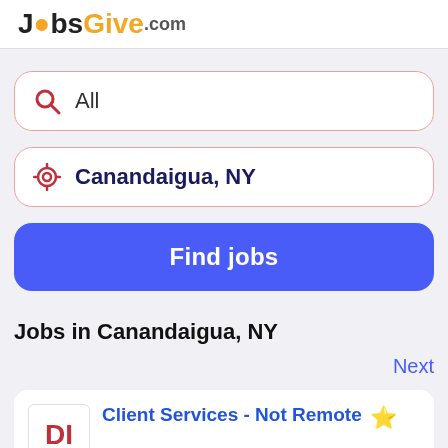JobsGive.com
All
Canandaigua, NY
Find jobs
Jobs in Canandaigua, NY
Next
Client Services - Not Remote ★